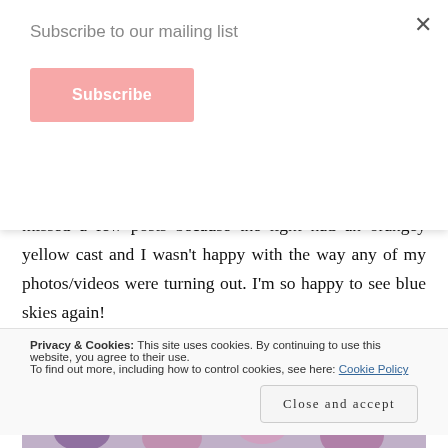Subscribe to our mailing list
Subscribe
products for blog posts again. It’s been so frustrating, I missed a few posts because the light had an orangey yellow cast and I wasn’t happy with the way any of my photos/videos were turning out. I’m so happy to see blue skies again!
[Figure (photo): Photo of makeup products including lipstick and eyeshadow palette with blue rim]
Privacy & Cookies: This site uses cookies. By continuing to use this website, you agree to their use.
To find out more, including how to control cookies, see here: Cookie Policy
Close and accept
[Figure (photo): Partial photo of makeup products at bottom of page]